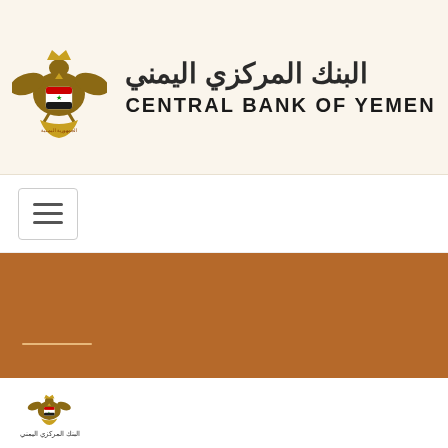[Figure (logo): Central Bank of Yemen logo with coat of arms and Arabic and English text]
[Figure (other): Hamburger menu icon inside a bordered box]
[Figure (other): Brown hero banner with a short golden underline decoration at lower left]
[Figure (other): White empty section below hero band]
[Figure (other): Brown footer band with a US flag icon in the center]
[Figure (logo): Small Central Bank of Yemen coat of arms logo with Arabic text below at bottom of page]